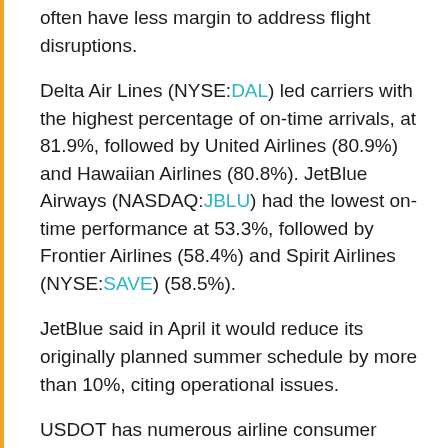often have less margin to address flight disruptions.
Delta Air Lines (NYSE:DAL) led carriers with the highest percentage of on-time arrivals, at 81.9%, followed by United Airlines (80.9%) and Hawaiian Airlines (80.8%). JetBlue Airways (NASDAQ:JBLU) had the lowest on-time performance at 53.3%, followed by Frontier Airlines (58.4%) and Spirit Airlines (NYSE:SAVE) (58.5%).
JetBlue said in April it would reduce its originally planned summer schedule by more than 10%, citing operational issues.
USDOT has numerous airline consumer rules under review. On Thursday it said it “remains committed to ensuring airline passengers are protected fairly and is concerned about recent cancellations and flight disruptions.”